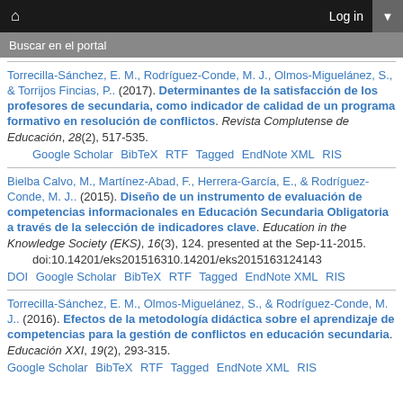Home  Log in
Buscar en el portal
Torrecilla-Sánchez, E. M., Rodríguez-Conde, M. J., Olmos-Miguelánez, S., & Torrijos Fincias, P.. (2017). Determinantes de la satisfacción de los profesores de secundaria, como indicador de calidad de un programa formativo en resolución de conflictos. Revista Complutense de Educación, 28(2), 517-535.
Google Scholar  BibTeX  RTF  Tagged  EndNote XML  RIS
Bielba Calvo, M., Martínez-Abad, F., Herrera-García, E., & Rodríguez-Conde, M. J.. (2015). Diseño de un instrumento de evaluación de competencias informacionales en Educación Secundaria Obligatoria a través de la selección de indicadores clave. Education in the Knowledge Society (EKS), 16(3), 124. presented at the Sep-11-2015.
doi:10.14201/eks201516310.14201/eks2015163124143
DOI  Google Scholar  BibTeX  RTF  Tagged  EndNote XML  RIS
Torrecilla-Sánchez, E. M., Olmos-Miguelánez, S., & Rodríguez-Conde, M. J.. (2016). Efectos de la metodología didáctica sobre el aprendizaje de competencias para la gestión de conflictos en educación secundaria. Educación XXI, 19(2), 293-315.
Google Scholar  BibTeX  RTF  Tagged  EndNote XML  RIS